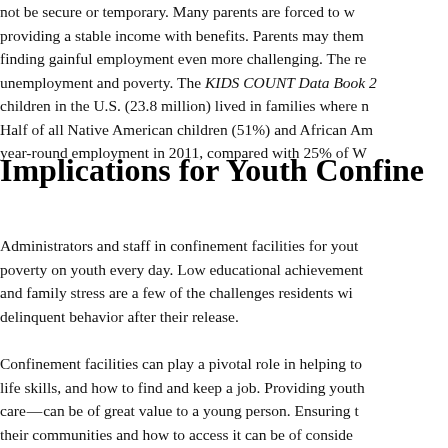not be secure or temporary. Many parents are forced to w providing a stable income with benefits. Parents may them finding gainful employment even more challenging. The re unemployment and poverty. The KIDS COUNT Data Book 2 children in the U.S. (23.8 million) lived in families where n Half of all Native American children (51%) and African Am year-round employment in 2011, compared with 25% of W
Implications for Youth Confine
Administrators and staff in confinement facilities for yout poverty on youth every day. Low educational achievement and family stress are a few of the challenges residents wi delinquent behavior after their release.
Confinement facilities can play a pivotal role in helping to life skills, and how to find and keep a job. Providing youth care — can be of great value to a young person. Ensuring t their communities and how to access it can be of conside